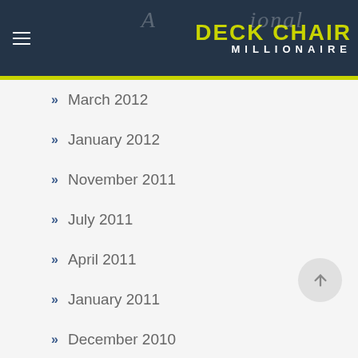DECK CHAIR MILLIONAIRE
March 2012
January 2012
November 2011
July 2011
April 2011
January 2011
December 2010
October 2010